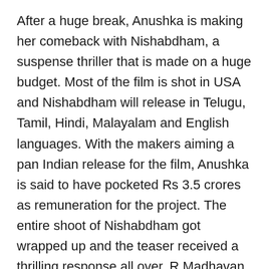After a huge break, Anushka is making her comeback with Nishabdham, a suspense thriller that is made on a huge budget. Most of the film is shot in USA and Nishabdham will release in Telugu, Tamil, Hindi, Malayalam and English languages. With the makers aiming a pan Indian release for the film, Anushka is said to have pocketed Rs 3.5 crores as remuneration for the project. The entire shoot of Nishabdham got wrapped up and the teaser received a thrilling response all over. R Madhavan is the other lead actor in Nishabdham which is directed by Hemanth Madhukar.
The film is hot in trade and the makers will announce the release date of Nishabdham this month. Anjali, Srinivas Avasarala, Subbaraju, Shalini Pandey and Micheal Madsen will be essaying other pivotal roles in Nishabdham. Anushka essays the role of Sakshi, an artist with speech impairment